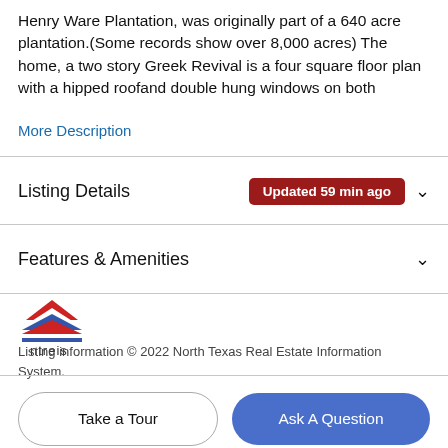Henry Ware Plantation, was originally part of a 640 acre plantation.(Some records show over 8,000 acres) The home, a two story Greek Revival is a four square floor plan with a hipped roofand double hung windows on both
More Description
Listing Details  Updated 59 min ago
Features & Amenities
[Figure (logo): NTREIS logo - stylized house shape with red, white and blue stripes, text 'ntreis' below]
Listing information © 2022 North Texas Real Estate Information System.
Take a Tour
Ask A Question